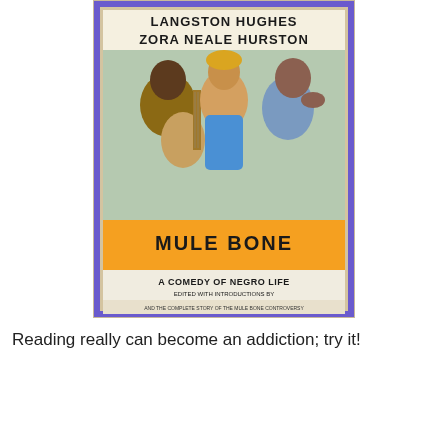[Figure (photo): Photo of a book cover: 'Mule Bone: A Comedy of Negro Life' by Langston Hughes and Zora Neale Hurston, edited with introductions by George Houston Bass and Henry Louis Gates, Jr., and the complete story of the Mule Bone controversy. The cover shows an illustrated scene with three people, one playing a guitar, in a colorful folk-art style.]
Reading really can become an addiction; try it!